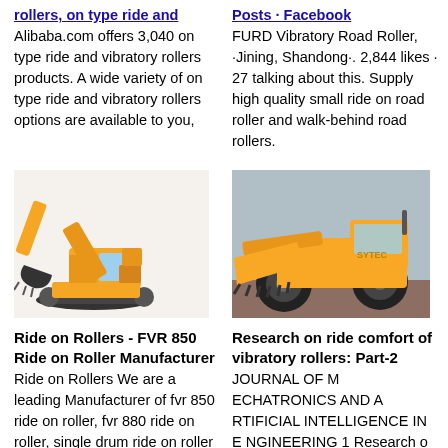rollers, on type ride and Alibaba.com offers 3,040 on type ride and vibratory rollers products. A wide variety of on type ride and vibratory rollers options are available to you,
Posts - Facebook FURD Vibratory Road Roller, ·Jining, Shandong·. 2,844 likes · 27 talking about this. Supply high quality small ride on road roller and walk-behind road rollers.
[Figure (photo): Yellow excavator / mini excavator on white background]
[Figure (photo): Yellow front loader / wheel loader outdoors]
Ride on Rollers - FVR 850 Ride on Roller Manufacturer
Ride on Rollers We are a leading Manufacturer of fvr 850 ride on roller, fvr 880 ride on roller, single drum ride on roller
Research on ride comfort of vibratory rollers: Part-2
JOURNAL OF M ECHATRONICS AND A RTIFICIAL INTELLIGENCE IN E NGINEERING 1 Research o